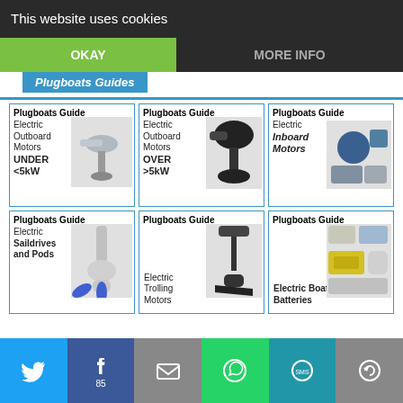This website uses cookies
OKAY
MORE INFO
Plugboats Guides
[Figure (screenshot): Grid of 6 Plugboats Guide cards for electric boat motors and batteries]
[Figure (infographic): Social sharing bar with Twitter, Facebook (85 likes), Email, WhatsApp, SMS, and share icons]